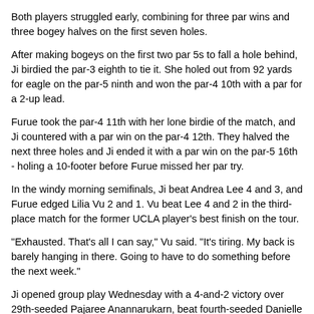Both players struggled early, combining for three par wins and three bogey halves on the first seven holes.
After making bogeys on the first two par 5s to fall a hole behind, Ji birdied the par-3 eighth to tie it. She holed out from 92 yards for eagle on the par-5 ninth and won the par-4 10th with a par for a 2-up lead.
Furue took the par-4 11th with her lone birdie of the match, and Ji countered with a par win on the par-4 12th. They halved the next three holes and Ji ended it with a par win on the par-5 16th - holing a 10-footer before Furue missed her par try.
In the windy morning semifinals, Ji beat Andrea Lee 4 and 3, and Furue edged Lilia Vu 2 and 1. Vu beat Lee 4 and 2 in the third-place match for the former UCLA player's best finish on the tour.
"Exhausted. That's all I can say," Vu said. "It's tiring. My back is barely hanging in there. Going to have to do something before the next week."
Ji opened group play Wednesday with a 4-and-2 victory over 29th-seeded Pajaree Anannarukarn, beat fourth-seeded Danielle Kang 2 and 1 on Thursday, and tied 61st-seeded Kelly Tan on Friday to win the group. On Saturday, Ji beat 20th-seeded Hye-Jin Choi 2 and 1 in the round of 16 and routed 12th-seeded Madelene Sagstrom 7 and 6 in the quarterfinals.
"Big thing is, I finished early yesterday," Ji said. "I have enough rest than other